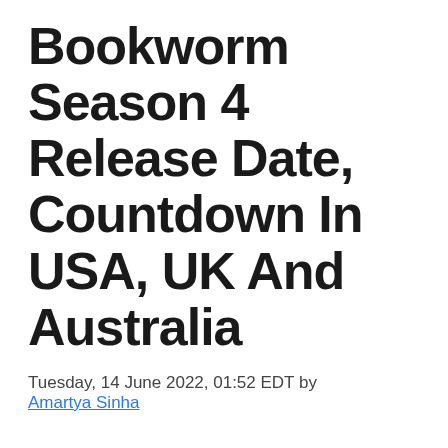Bookworm Season 4 Release Date, Countdown In USA, UK And Australia
Tuesday, 14 June 2022, 01:52 EDT by Amartya Sinha
A lot of people are wondering about Ascendance Of A Bookworm Season 4 Release Date. After watching all the previous episodes now all its fans are excited about